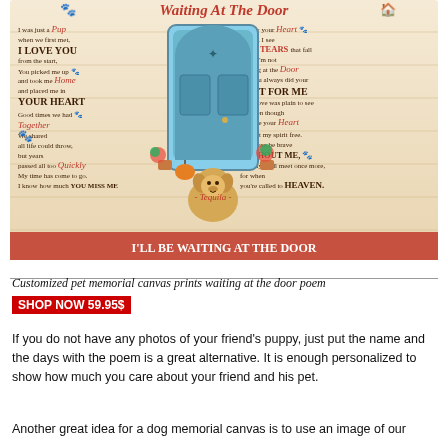[Figure (illustration): Canvas print of a poem titled 'Waiting At The Door' featuring a Golden Retriever sitting in front of a teal door with flowers and pots. The poem text is arranged around the dog image on a wood-grain background with paw prints. The dog is named Tequila.]
Customized pet memorial canvas prints waiting at the door poem
SHOP NOW 59.95$
If you do not have any photos of your friend's puppy, just put the name and the days with the poem is a great alternative. It is enough personalized to show how much you care about your friend and his pet.
Another great idea for a dog memorial canvas is to use an image of our